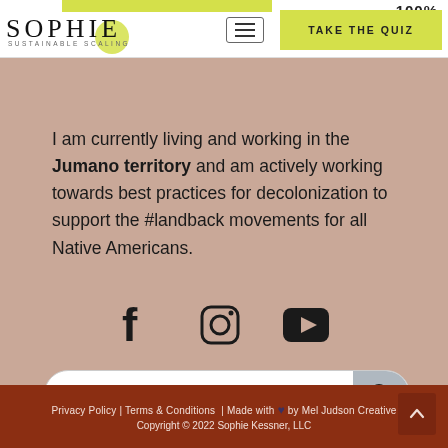SOPHIE | SUSTAINABLE SCALING | TAKE THE QUIZ | 100%
I am currently living and working in the Jumano territory and am actively working towards best practices for decolonization to support the #landback movements for all Native Americans.
[Figure (infographic): Social media icons row: Facebook, Instagram, YouTube]
[Figure (screenshot): Search bar with placeholder text 'Search...' and search icon button]
Privacy Policy | Terms & Conditions | Made with ♥ by Mel Judson Creative
Copyright © 2022 Sophie Kessner, LLC